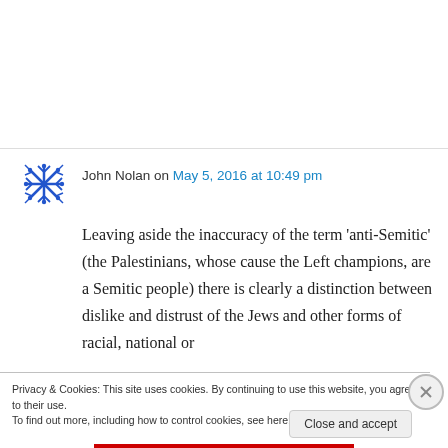John Nolan on May 5, 2016 at 10:49 pm
Leaving aside the inaccuracy of the term 'anti-Semitic' (the Palestinians, whose cause the Left champions, are a Semitic people) there is clearly a distinction between dislike and distrust of the Jews and other forms of racial, national or
Privacy & Cookies: This site uses cookies. By continuing to use this website, you agree to their use.
To find out more, including how to control cookies, see here: Cookie Policy
Close and accept